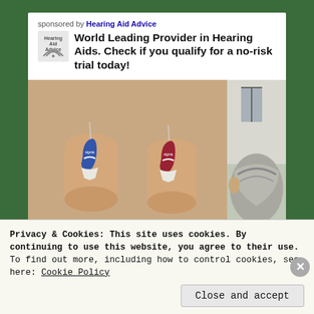sponsored by Hearing Aid Advice
World Leading Provider in Hearing Aids. Check if you qualify for a no-risk trial today!
[Figure (photo): Two small hearing aids (one blue, one red/maroon) held between fingers, with a partial side image of an elderly person's head.]
Privacy & Cookies: This site uses cookies. By continuing to use this website, you agree to their use.
To find out more, including how to control cookies, see here: Cookie Policy
Close and accept